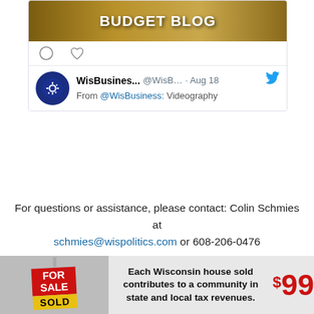[Figure (screenshot): Twitter/social media card showing 'Budget Blog' banner image with social action icons (comment, like), and below it a tweet from WisBusines... @WisB... · Aug 18 with partial text 'From @WisBusiness: Videography']
For questions or assistance, please contact: Colin Schmies at schmies@wispolitics.com or 608-206-0476
[Figure (infographic): Real estate advertisement showing FOR SALE / SOLD sign image with text 'Each Wisconsin house sold contributes to a community in state and local tax revenues.' and a large red '$99' price/stat figure]